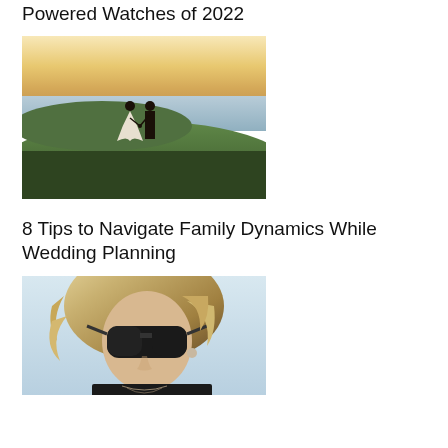Powered Watches of 2022
[Figure (photo): A couple on a coastal cliff at sunset, the woman in a white wedding dress reaching back to hold the man's hand]
8 Tips to Navigate Family Dynamics While Wedding Planning
[Figure (photo): Close-up portrait of a blonde woman wearing large dark sunglasses and a black top with layered necklaces]